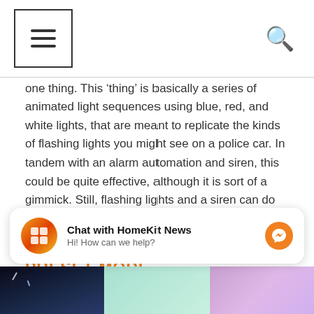[Menu icon] [Search icon]
one thing. This ‘thing’ is basically a series of animated light sequences using blue, red, and white lights, that are meant to replicate the kinds of flashing lights you might see on a police car. In tandem with an alarm automation and siren, this could be quite effective, although it is sort of a gimmick. Still, flashing lights and a siren can do wonders at deterring most opportunist burglars – or so I’m told!
PRESET MODE
[Figure (screenshot): Chat with HomeKit News widget — circular logo, bold title 'Chat with HomeKit News', subtitle 'Hi! How can we help?', orange messenger icon on right]
[Figure (photo): Three partial thumbnail images at bottom: dark night-sky/sparkle image, light teal/mint image, purple/mauve gradient image]